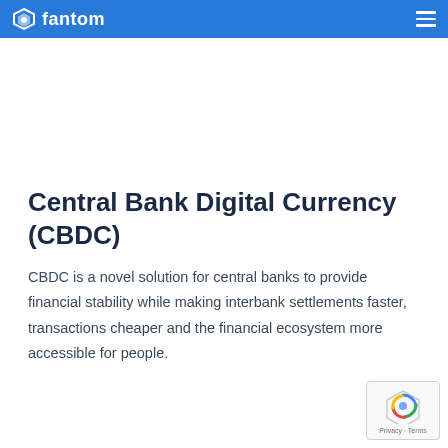fantom
Central Bank Digital Currency (CBDC)
CBDC is a novel solution for central banks to provide financial stability while making interbank settlements faster, transactions cheaper and the financial ecosystem more accessible for people.